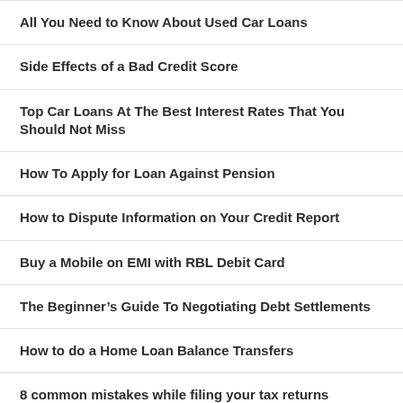All You Need to Know About Used Car Loans
Side Effects of a Bad Credit Score
Top Car Loans At The Best Interest Rates That You Should Not Miss
How To Apply for Loan Against Pension
How to Dispute Information on Your Credit Report
Buy a Mobile on EMI with RBL Debit Card
The Beginner’s Guide To Negotiating Debt Settlements
How to do a Home Loan Balance Transfers
8 common mistakes while filing your tax returns
Related Article